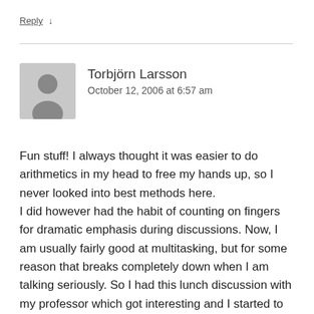Reply ↓
[Figure (illustration): Generic user avatar icon, grey silhouette of a person on a light grey background]
Torbjörn Larsson
October 12, 2006 at 6:57 am
Fun stuff! I always thought it was easier to do arithmetics in my head to free my hands up, so I never looked into best methods here.
I did however had the habit of counting on fingers for dramatic emphasis during discussions. Now, I am usually fairly good at multitasking, but for some reason that breaks completely down when I am talking seriously. So I had this lunch discussion with my professor which got interesting and I started to count my arguments. Unfortunately, since I was excited I started to count up fingers for once.
But did I notice? No, and it was not a nice sight by the time I